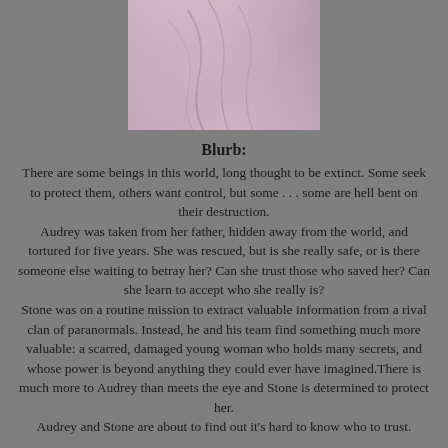[Figure (photo): Partial cover image showing a pinkish/mauve abstract or figure, cropped at top of page]
Blurb:
There are some beings in this world, long thought to be extinct. Some seek to protect them, others want control, but some . . . some are hell bent on their destruction.
 Audrey was taken from her father, hidden away from the world, and tortured for five years. She was rescued, but is she really safe, or is there someone else waiting to betray her? Can she trust those who saved her? Can she learn to accept who she really is?
 Stone was on a routine mission to extract valuable information from a rival clan of paranormals. Instead, he and his team find something much more valuable: a scarred, damaged young woman who holds many secrets, and whose power is beyond anything they could ever have imagined.There is much more to Audrey than meets the eye and Stone is determined to protect her.
 Audrey and Stone are about to find out it's hard to know who to trust.